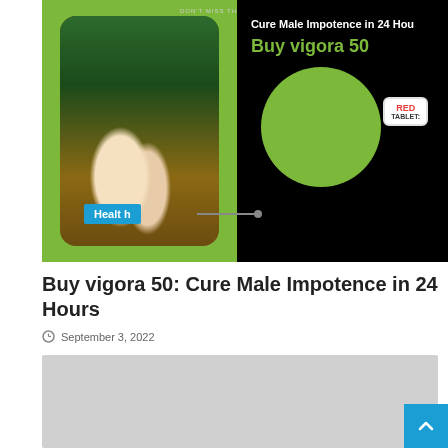[Figure (photo): Advertisement image for Vigora 50 medication. Left half shows a couple walking under a floral archway on a green background with text 'DON'T MISS THE WEEKEND OFFER'. Right half on black background shows text 'Cure Male Impotence in 24 Hours', 'Buy vigora 50' in green, a green circle with product packaging (Vigora 50 tablets), and a white badge reading 'RED TABLETS'. A blue 'Health' label badge is at bottom left of image.]
Buy vigora 50: Cure Male Impotence in 24 Hours
September 3, 2022
[Figure (photo): Grey placeholder image area at the bottom of the article]